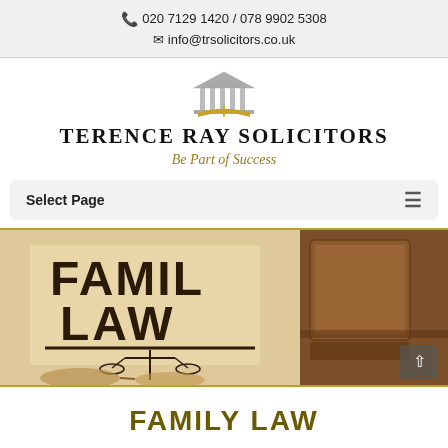020 7129 1420 / 078 9902 5308  info@trsolicitors.co.uk
[Figure (logo): Terence Ray Solicitors logo with a columned building (temple) icon above an open book, with 'TERENCE RAY SOLICITORS' text and 'Be Part of Success' tagline in gold italic]
Select Page
[Figure (photo): Sepia-toned photo showing a Family Law book with scales of justice stamp, glasses in foreground, and books in background]
FAMILY LAW